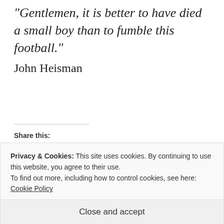“Gentlemen, it is better to have died a small boy than to fumble this football.”
John Heisman
Share this:
Tumblr  Facebook  Twitter  More
Loading...
Privacy & Cookies: This site uses cookies. By continuing to use this website, you agree to their use. To find out more, including how to control cookies, see here: Cookie Policy
Close and accept
graduating class. It seemed